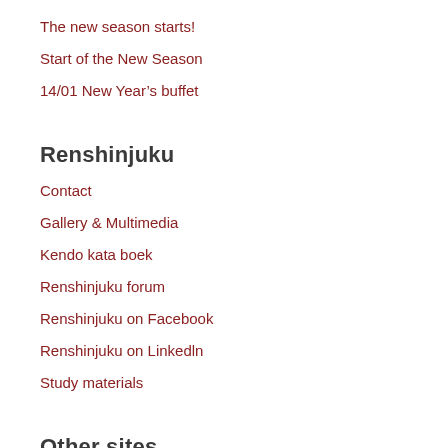The new season starts!
Start of the New Season
14/01 New Year's buffet
Renshinjuku
Contact
Gallery & Multimedia
Kendo kata boek
Renshinjuku forum
Renshinjuku on Facebook
Renshinjuku on Linkedln
Study materials
Other sites